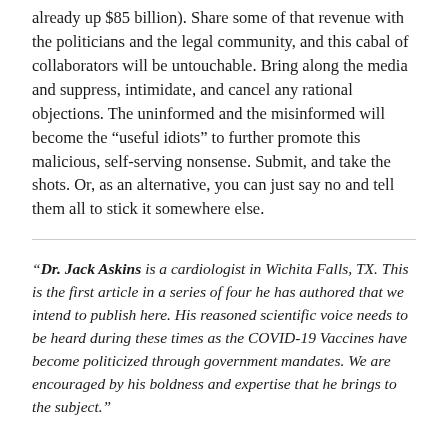already up $85 billion). Share some of that revenue with the politicians and the legal community, and this cabal of collaborators will be untouchable. Bring along the media and suppress, intimidate, and cancel any rational objections. The uninformed and the misinformed will become the “useful idiots” to further promote this malicious, self-serving nonsense. Submit, and take the shots. Or, as an alternative, you can just say no and tell them all to stick it somewhere else.
“Dr. Jack Askins is a cardiologist in Wichita Falls, TX. This is the first article in a series of four he has authored that we intend to publish here. His reasoned scientific voice needs to be heard during these times as the COVID-19 Vaccines have become politicized through government mandates. We are encouraged by his boldness and expertise that he brings to the subject.”